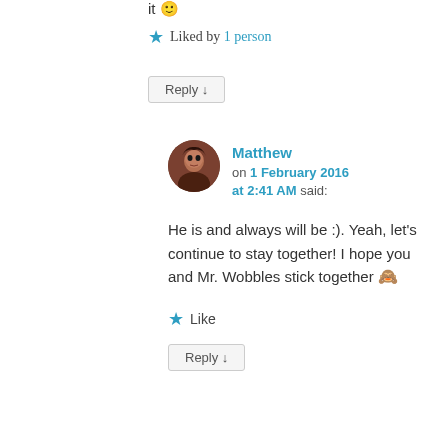it 😊
★ Liked by 1 person
Reply ↓
Matthew on 1 February 2016 at 2:41 AM said:
He is and always will be :). Yeah, let's continue to stay together! I hope you and Mr. Wobbles stick together 🙈
★ Like
Reply ↓